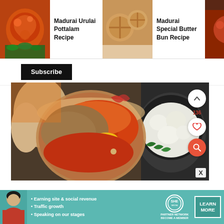[Figure (screenshot): Top navigation bar with three recipe thumbnails: 'Madurai Urulai Pottalam Recipe', 'Madurai Special Butter Bun Recipe', 'Madurai Ve Meen Kuzhambu']
Madurai Urulai Pottalam Recipe
Madurai Special Butter Bun Recipe
Madurai Ve Meen Kuzhambu
Subscribe
[Figure (photo): A hand holding a glass bowl filled with multiple spice powders including orange chili powder, brown cumin/coriander powder, and yellow turmeric, with a cooking pot visible in the background containing onions and curry leaves]
136
[Figure (screenshot): Advertisement banner for SHE Partner Network with bullet points: Earning site & social revenue, Traffic growth, Speaking on our stages. Includes a LEARN MORE button.]
• Earning site & social revenue
• Traffic growth
• Speaking on our stages
LEARN MORE